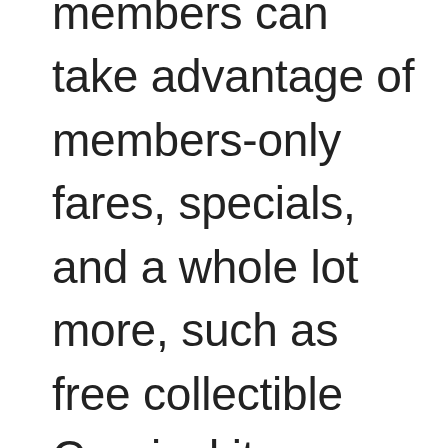members can take advantage of members-only fares, specials, and a whole lot more, such as free collectible Carnival items, priority boarding, and invites to members-only cocktail receptions, just to name a few. Check the Carnival site often, as terrific offers such as Early Saver Sales, 48-Hour Sales, and specials like their Fall Room Clearance come up periodically. If it lines up with your schedule, you